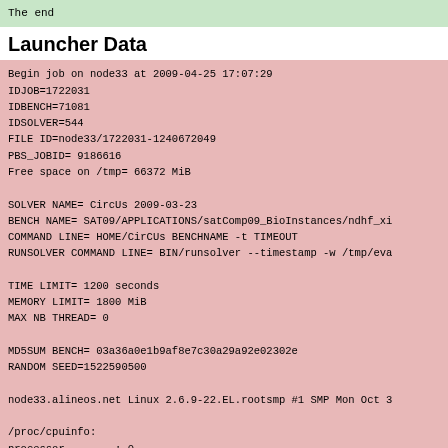The end
Launcher Data
Begin job on node33 at 2009-04-25 17:07:29
IDJOB=1722031
IDBENCH=71081
IDSOLVER=544
FILE ID=node33/1722031-1240672049
PBS_JOBID= 9186616
Free space on /tmp= 66372 MiB

SOLVER NAME= CircUs 2009-03-23
BENCH NAME= SAT09/APPLICATIONS/satComp09_BioInstances/ndhf_xi
COMMAND LINE= HOME/CirCUs BENCHNAME -t TIMEOUT
RUNSOLVER COMMAND LINE= BIN/runsolver --timestamp -w /tmp/eva

TIME LIMIT= 1200 seconds
MEMORY LIMIT= 1800 MiB
MAX NB THREAD= 0

MD5SUM BENCH= 03a36a0e1b9af8e7c30a29a92e02302e
RANDOM SEED=1522590500

node33.alineos.net Linux 2.6.9-22.EL.rootsmp #1 SMP Mon Oct 3

/proc/cpuinfo:
processor        : 0
vendor_id        : GenuineIntel
cpu family       : 15